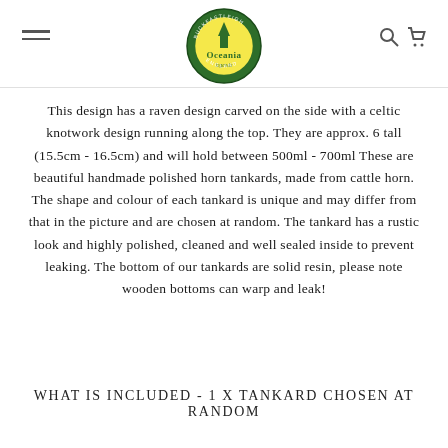Oceania Legends — Buckfastleigh England logo, hamburger menu, search and cart icons
This design has a raven design carved on the side with a celtic knotwork design running along the top. They are approx. 6 tall (15.5cm - 16.5cm) and will hold between 500ml - 700ml These are beautiful handmade polished horn tankards, made from cattle horn. The shape and colour of each tankard is unique and may differ from that in the picture and are chosen at random. The tankard has a rustic look and highly polished, cleaned and well sealed inside to prevent leaking. The bottom of our tankards are solid resin, please note wooden bottoms can warp and leak!
WHAT IS INCLUDED - 1 x TANKARD CHOSEN AT RANDOM